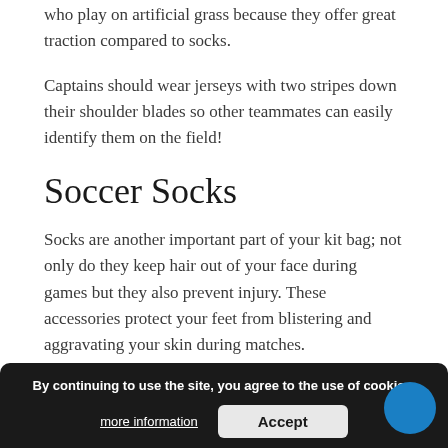who play on artificial grass because they offer great traction compared to socks.
Captains should wear jerseys with two stripes down their shoulder blades so other teammates can easily identify them on the field!
Soccer Socks
Socks are another important part of your kit bag; not only do they keep hair out of your face during games but they also prevent injury. These accessories protect your feet from blistering and aggravating your skin during matches.
Players should also make sure their socks th...them enough support and traction!
By continuing to use the site, you agree to the use of cookies.
more information  Accept